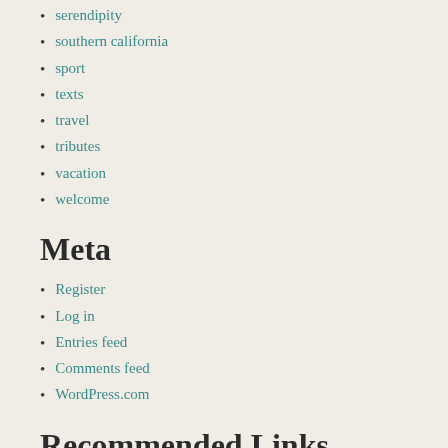serendipity
southern california
sport
texts
travel
tributes
vacation
welcome
Meta
Register
Log in
Entries feed
Comments feed
WordPress.com
Recommended Links
Hungarian Literature Online Keep up to date with the latest in Hungarian poetry, literature, translations, and more.
TodayIFoundOut.Com Interesting facts to while away a few idle